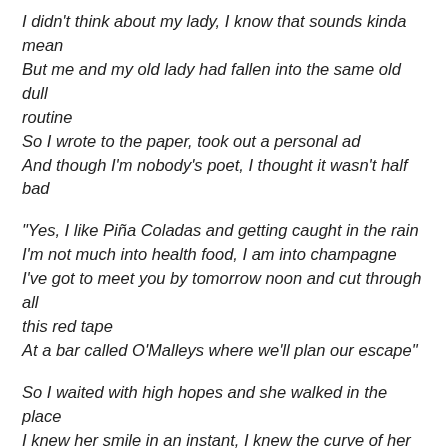I didn't think about my lady, I know that sounds kinda mean
But me and my old lady had fallen into the same old dull routine
So I wrote to the paper, took out a personal ad
And though I'm nobody's poet, I thought it wasn't half bad
“Yes, I like Piña Coladas and getting caught in the rain
I'm not much into health food, I am into champagne
I've got to meet you by tomorrow noon and cut through all this red tape
At a bar called O’Malleys where we'll plan our escape”
So I waited with high hopes and she walked in the place
I knew her smile in an instant, I knew the curve of her face
It was my own lovely lady and she said, “Oh, it’s you?”